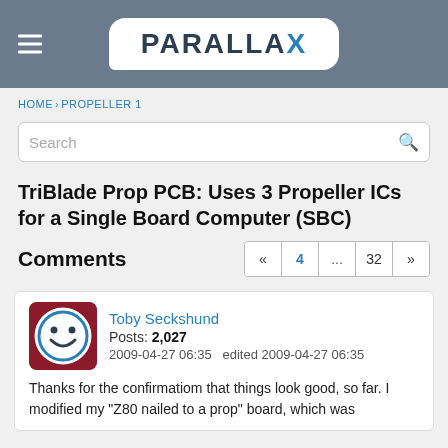[Figure (logo): Parallax logo in white rounded rectangle on grey header bar]
HOME › PROPELLER 1
TriBlade Prop PCB: Uses 3 Propeller ICs for a Single Board Computer (SBC)
Comments
Toby Seckshund  Posts: 2,027  2009-04-27 06:35  edited 2009-04-27 06:35
Thanks for the confirmatiom that things look good, so far. I modified my "Z80 nailed to a prop" board, which was